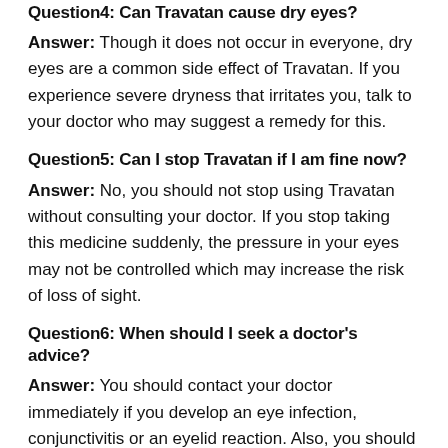Question4: Can Travatan cause dry eyes?
Answer: Though it does not occur in everyone, dry eyes are a common side effect of Travatan. If you experience severe dryness that irritates you, talk to your doctor who may suggest a remedy for this.
Question5: Can I stop Travatan if I am fine now?
Answer: No, you should not stop using Travatan without consulting your doctor. If you stop taking this medicine suddenly, the pressure in your eyes may not be controlled which may increase the risk of loss of sight.
Question6: When should I seek a doctor's advice?
Answer: You should contact your doctor immediately if you develop an eye infection, conjunctivitis or an eyelid reaction. Also, you should inform the doctor if you have an eye injury or eye surgery. Discuss with your doctor if you have to continue using Travatan.